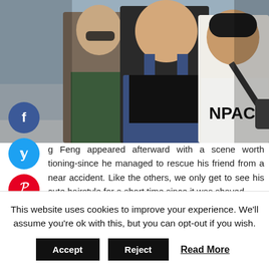[Figure (photo): Three people standing together outdoors. A woman with sunglasses on the left, a heavy-set man in blue overalls in the center, and a younger man in a white t-shirt with 'NPACE' on the right carrying a bag.]
g Feng appeared afterward with a scene worth tioning-since he managed to rescue his friend from a near accident. Like the others, we only get to see his cute hairstyle for a short time since it was shaved
This website uses cookies to improve your experience. We'll assume you're ok with this, but you can opt-out if you wish.